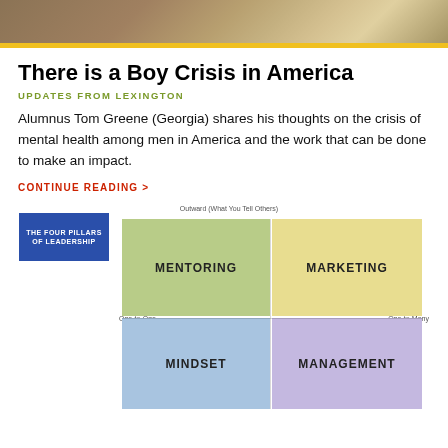[Figure (photo): Header photo bar showing people, muted colors with yellow stripe at bottom]
There is a Boy Crisis in America
UPDATES FROM LEXINGTON
Alumnus Tom Greene (Georgia) shares his thoughts on the crisis of mental health among men in America and the work that can be done to make an impact.
CONTINUE READING >
[Figure (infographic): Four quadrant leadership diagram titled 'The Four Pillars of Leadership' with axes One-to-One / One-to-Many and Outward (What You Tell Others). Four quadrants: Mentoring (top-left, green), Marketing (top-right, yellow), Mindset (bottom-left, blue), Management (bottom-right, purple).]